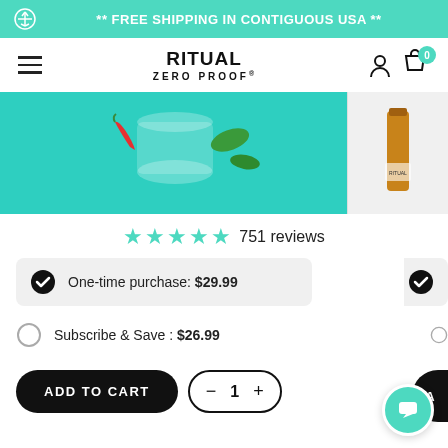** FREE SHIPPING IN CONTIGUOUS USA **
RITUAL
ZERO PROOF
[Figure (photo): Product photo showing a glass jar with chili peppers and herbs on a teal/turquoise background; a thumbnail of a bottle label is visible on the right side]
751 reviews
One-time purchase: $29.99
Subscribe & Save : $26.99
ADD TO CART
1